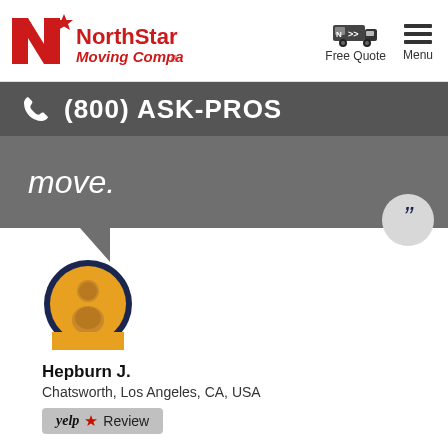[Figure (logo): NorthStar Moving Company logo in red with stylized N and star]
[Figure (infographic): Navigation icons: moving truck icon with Free Quote label, and hamburger menu icon with Menu label]
(800) ASK-PROS
move.
Hepburn J.
Chatsworth, Los Angeles, CA, USA
[Figure (infographic): Yelp Review badge with yelp logo and red asterisk/star]
[Figure (illustration): User avatar circle with gold/yellow background and dark blue border showing a silhouette person icon]